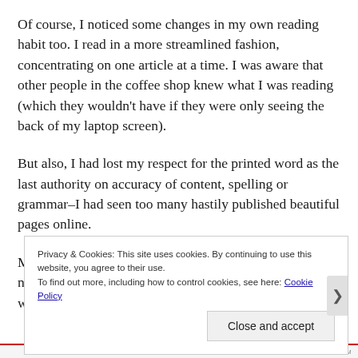Of course, I noticed some changes in my own reading habit too. I read in a more streamlined fashion, concentrating on one article at a time. I was aware that other people in the coffee shop knew what I was reading (which they wouldn't have if they were only seeing the back of my laptop screen).
But also, I had lost my respect for the printed word as the last authority on accuracy of content, spelling or grammar–I had seen too many hastily published beautiful pages online.
My experience made me wonder how the nuances of narration and description have changed in writing since we started
Privacy & Cookies: This site uses cookies. By continuing to use this website, you agree to their use.
To find out more, including how to control cookies, see here: Cookie Policy
Close and accept